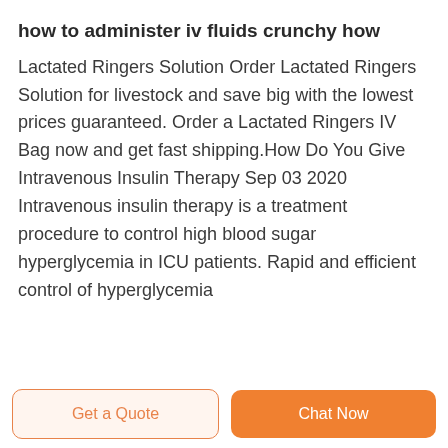how to administer iv fluids crunchy how
Lactated Ringers Solution Order Lactated Ringers Solution for livestock and save big with the lowest prices guaranteed. Order a Lactated Ringers IV Bag now and get fast shipping.How Do You Give Intravenous Insulin Therapy Sep 03 2020 Intravenous insulin therapy is a treatment procedure to control high blood sugar hyperglycemia in ICU patients. Rapid and efficient control of hyperglycemia
Get a Quote | Chat Now